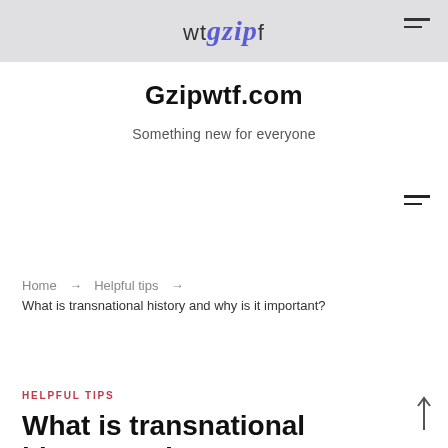wtgzipf — Gzipwtf.com
Gzipwtf.com
Something new for everyone
Home → Helpful tips → What is transnational history and why is it important?
HELPFUL TIPS
What is transnational history and